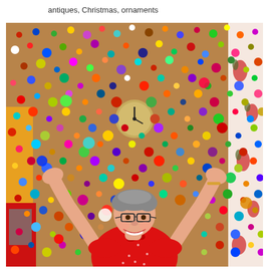antiques, Christmas, ornaments
[Figure (photo): A smiling elderly woman in a red dress with arms raised, standing in front of a wall completely covered with hundreds of colorful Christmas ornament balls of various sizes, with a clock visible in the center of the wall.]